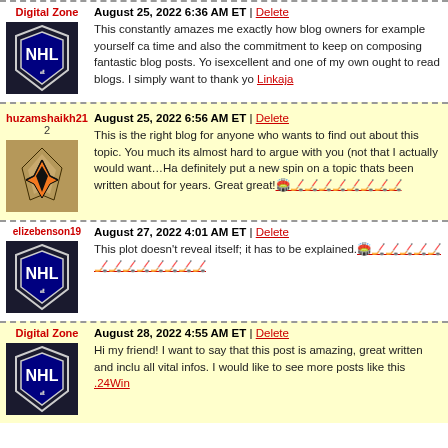Digital Zone | August 25, 2022 6:36 AM ET | Delete
This constantly amazes me exactly how blog owners for example yourself ca... time and also the commitment to keep on composing fantastic blog posts. Yo... isexcellent and one of my own ought to read blogs. I simply want to thank yo... Linkaja
huzamshaikh21 2 | August 25, 2022 6:56 AM ET | Delete
This is the right blog for anyone who wants to find out about this topic. You... much its almost hard to argue with you (not that I actually would want...Ha... definitely put a new spin on a topic thats been written about for years. Great... great!🏟️🏒🏒🏒🏒🏒🏒🏒🏒
elizebenson19 | August 27, 2022 4:01 AM ET | Delete
This plot doesn't reveal itself; it has to be explained.🏟️🏒🏒🏒🏒🏒🏒🏒🏒🏒🏒🏒🏒🏒
Digital Zone | August 28, 2022 4:55 AM ET | Delete
Hi my friend! I want to say that this post is amazing, great written and inclu... all vital infos. I would like to see more posts like this .24Win